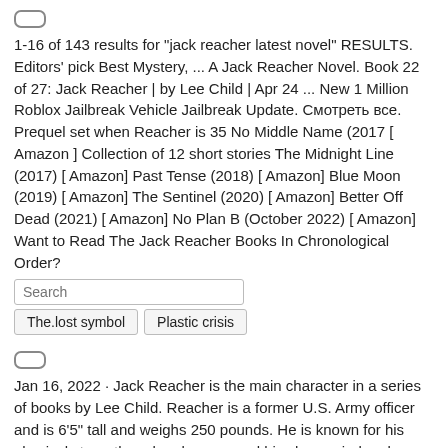[Figure (other): Search bar icon (rounded rectangle outline)]
1-16 of 143 results for "jack reacher latest novel" RESULTS. Editors' pick Best Mystery, ... A Jack Reacher Novel. Book 22 of 27: Jack Reacher | by Lee Child | Apr 24 ... New 1 Million Roblox Jailbreak Vehicle Jailbreak Update. Смотреть все. Prequel set when Reacher is 35 No Middle Name (2017 [ Amazon ] Collection of 12 short stories The Midnight Line (2017) [ Amazon] Past Tense (2018) [ Amazon] Blue Moon (2019) [ Amazon] The Sentinel (2020) [ Amazon] Better Off Dead (2021) [ Amazon] No Plan B (October 2022) [ Amazon] Want to Read The Jack Reacher Books In Chronological Order?
[Figure (screenshot): Search input box with placeholder text 'Search']
[Figure (screenshot): Two buttons: 'The.lost symbol' and 'Plastic crisis']
[Figure (other): Search bar icon (rounded rectangle outline)]
Jan 16, 2022 · Jack Reacher is the main character in a series of books by Lee Child. Reacher is a former U.S. Army officer and is 6'5" tall and weighs 250 pounds. He is known for his physical strength and endurance and his sharp mind and intuition. Reacher is a drifter who often travels on foot, and he has a strong sense of justice which leads him to help ... "Blue Moon" is the latest Jack Reacher novel and crime author Lee Child describes how he goes about developing a thrilling plot. Best-selling thriller author Lee Child has released the latest instalment of his highly-acclaimed suspense series, Jack Reacher. Child's new book, Blue Moon...